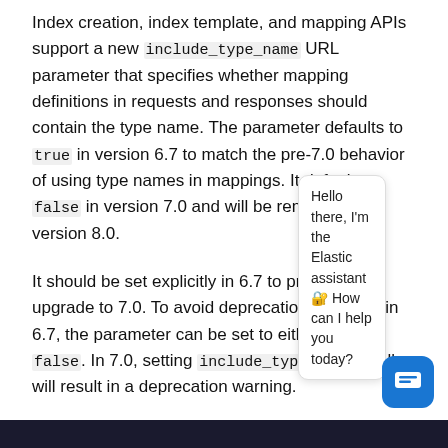Index creation, index template, and mapping APIs support a new include_type_name URL parameter that specifies whether mapping definitions in requests and responses should contain the type name. The parameter defaults to true in version 6.7 to match the pre-7.0 behavior of using type names in mappings. It defaults to false in version 7.0 and will be removed in version 8.0.
It should be set explicitly in 6.7 to prepare to upgrade to 7.0. To avoid deprecation warnings in 6.7, the parameter can be set to either true or false. In 7.0, setting include_type_name at all will result in a deprecation warning.
See some [x]a...search with this optic...
Hello there, I'm the Elastic assistant 🤖 How can I help you today?